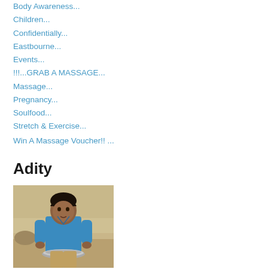Body Awareness...
Children...
Confidentially...
Eastbourne...
Events...
!!!...GRAB A MASSAGE...
Massage...
Pregnancy...
Soulfood...
Stretch & Exercise...
Win A Massage Voucher!! ...
Adity
[Figure (photo): A young boy in a blue shirt standing outdoors in a sandy/dusty environment, holding a metal plate/dish. The background shows a dry, arid landscape.]